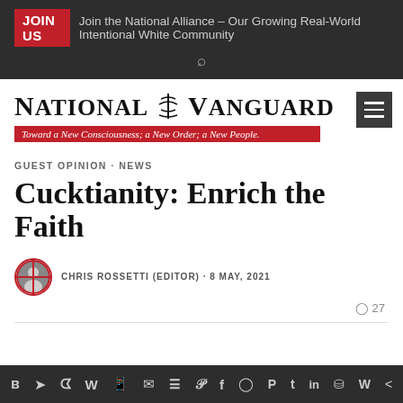JOIN US   Join the National Alliance – Our Growing Real-World Intentional White Community
[Figure (logo): National Vanguard logo with emblem and red subtitle bar reading 'Toward a New Consciousness; a New Order; a New People.']
GUEST OPINION · NEWS
Cucktianity: Enrich the Faith
CHRIS ROSSETTI (EDITOR) · 8 MAY, 2021
27
Social media share icons bar